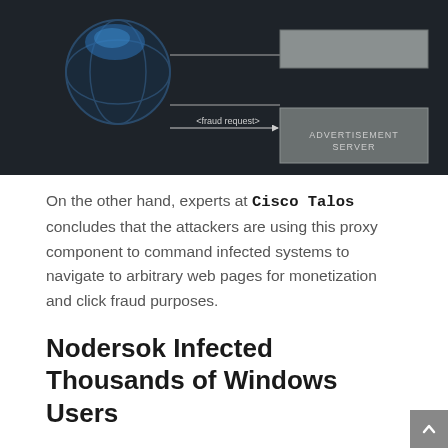[Figure (schematic): Dark-themed network diagram showing a fraud request arrow pointing from the left toward an 'ADVERTISEMENT SERVER' box on the right, with circular element at top-left.]
On the other hand, experts at Cisco Talos concludes that the attackers are using this proxy component to command infected systems to navigate to arbitrary web pages for monetization and click fraud purposes.
Nodersok Infected Thousands of Windows Users
According to Microsoft, the Nodersok malware has already infected thousands of machines in the past several weeks, with most targets located in the United States and Europe.
While the malware primarily focuses on targeting Windows home users, researchers have seen roughly 3% of attacks targeting organization from industry sectors, including education,